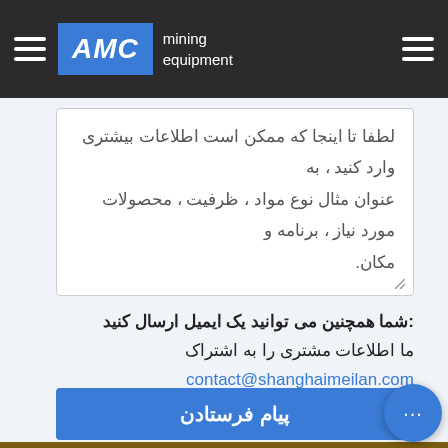AMC mining equipment
لطفا تا اینجا که ممکن است اطلاعات بیشتری وارد کنید ، به عنوان مثال نوع مواد ، ظرفیت ، محصولات مورد نیاز ، برنامه و مکان.
شما همچنین می توانید یک ایمیل ارسال کنید: contact@shanghaimeilan.com ما اطلاعات مشتری را به اشتراک نمی گذاریم و از هرزنامه ها متنفر هستیم.
پیام فرستادن
[Figure (photo): Mining equipment photo at bottom of page]